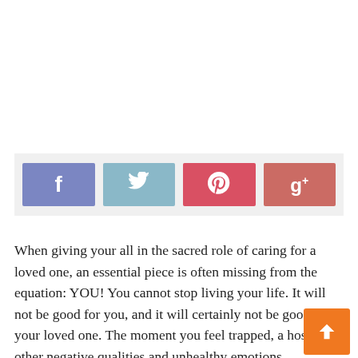[Figure (infographic): Social media share buttons: Facebook (blue-purple), Twitter (light blue), Pinterest (red/pink), Google+ (muted red). Displayed in a light gray bar.]
When giving your all in the sacred role of caring for a loved one, an essential piece is often missing from the equation: YOU! You cannot stop living your life. It will not be good for you, and it will certainly not be good for your loved one. The moment you feel trapped, a host of other negative qualities and unhealthy emotions—resentment, anger, impatience, irritability— will begin to creep in.